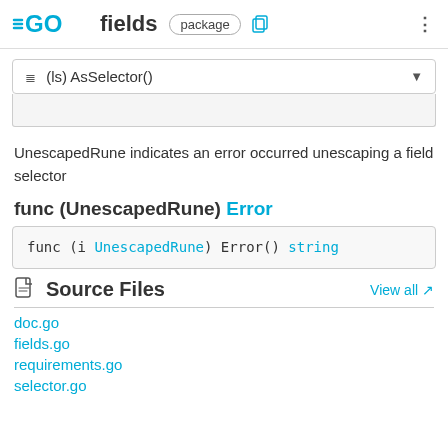Go fields package
≡ (ls) AsSelector()
UnescapedRune indicates an error occurred unescaping a field selector
func (UnescapedRune) Error
func (i UnescapedRune) Error() string
Source Files
doc.go
fields.go
requirements.go
selector.go